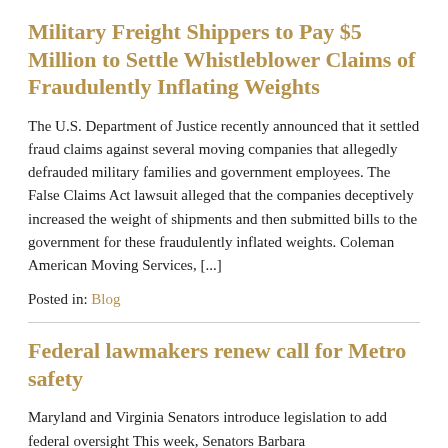Military Freight Shippers to Pay $5 Million to Settle Whistleblower Claims of Fraudulently Inflating Weights
The U.S. Department of Justice recently announced that it settled fraud claims against several moving companies that allegedly defrauded military families and government employees. The False Claims Act lawsuit alleged that the companies deceptively increased the weight of shipments and then submitted bills to the government for these fraudulently inflated weights. Coleman American Moving Services, [...]
Posted in: Blog
Federal lawmakers renew call for Metro safety
Maryland and Virginia Senators introduce legislation to add federal oversight This week, Senators Barbara